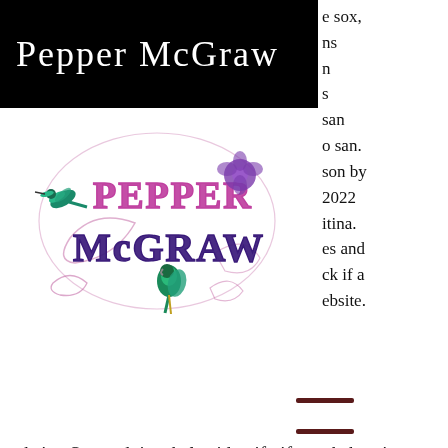Pepper McGraw
e sox, ns n s san o san. son by 2022 itina. es and ck if a ebsite.
[Figure (logo): Pepper McGraw decorative logo with hummingbird and parrot, stylized calligraphic text in pink/purple and teal, with floral accents]
[Figure (other): Hamburger menu icon with three horizontal dark red lines]
ebsite. Scamadviser helps identify if a webshop is fraudulent or infected with malware. Gran casino san juan Horarios, avenida javier prado este 2772, san borja, contactos. En iyi yatırım bonusu veren siteler jojobet over 1500 casino games; live. 2016 - автор пина:antonio javier calzada. Una princesa viene en camino acompañanos a celebrar el